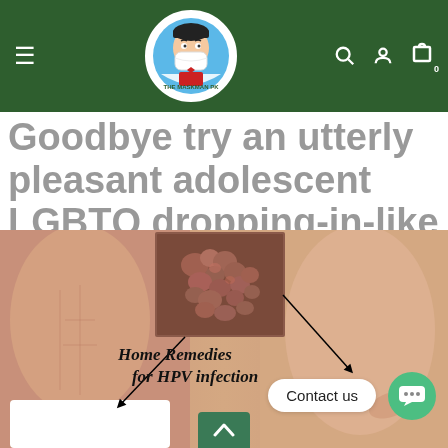THE MASKMAN PK — navigation bar with hamburger menu, logo, search, user, and cart icons
Goodbye try an utterly pleasant adolescent LGBTQ dropping-in-like thrill when
[Figure (photo): Medical image showing home remedies for HPV infection — two human figures with an inset close-up image of skin lesions, arrows pointing to affected areas, and italic text 'Home Remedies for HPV infection']